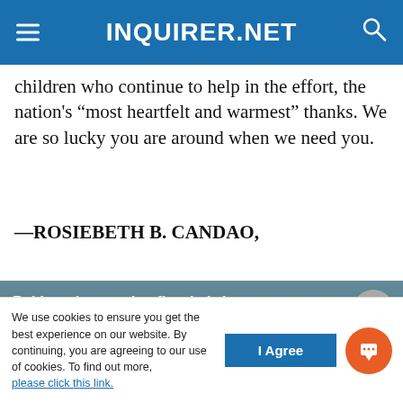INQUIRER.NET
children who continue to help in the effort, the nation's “most heartfelt and warmest” thanks. We are so lucky you are around when we need you.
—ROSIEBETH B. CANDAO,
[Figure (screenshot): Video thumbnail showing Pakistan's massive floods with people wading in floodwater. Title reads 'Pakistan's massive floods bri...' with view count 2.3K. INQUIRER.NET branding with play button in top right corner.]
We use cookies to ensure you get the best experience on our website. By continuing, you are agreeing to our use of cookies. To find out more, please click this link.